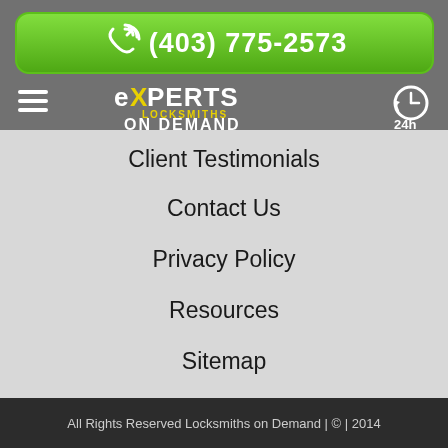[Figure (other): Green call button with phone icon and phone number (403) 775-2573 on grey header background]
[Figure (logo): Experts Locksmiths on Demand logo in white and yellow text with hamburger menu icon on left and 24h clock icon on right]
Client Testimonials
Contact Us
Privacy Policy
Resources
Sitemap
All Rights Reserved Locksmiths on Demand | © | 2014